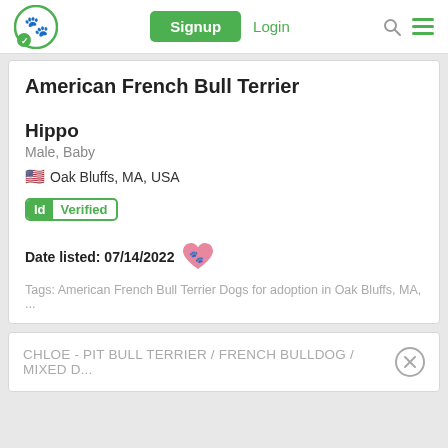Signup  Login
American French Bull Terrier
Hippo
Male, Baby
Oak Bluffs, MA, USA
Id Verified
Date listed: 07/14/2022
Tags: American French Bull Terrier Dogs for adoption in Oak Bluffs, MA, ...
CHLOE - PIT BULL TERRIER / FRENCH BULLDOG / MIXED D...